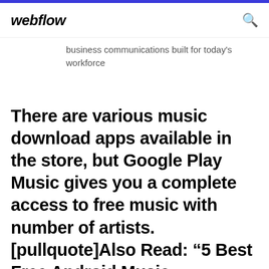webflow
business communications built for today's workforce
There are various music download apps available in the store, but Google Play Music gives you a complete access to free music with number of artists. [pullquote]Also Read: “5 Best Free Android Music Players”[/pullquote] It lets you download…